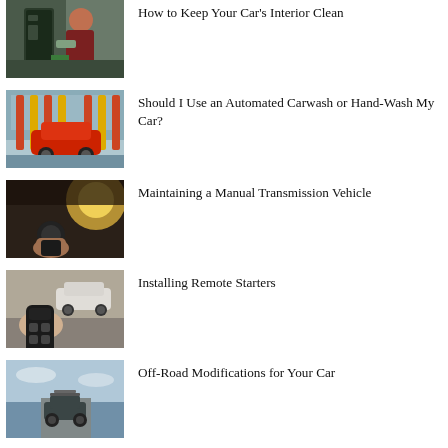[Figure (photo): Person cleaning car interior door panel with a cloth]
How to Keep Your Car's Interior Clean
[Figure (photo): Automated car wash with colorful brushes washing a red car]
Should I Use an Automated Carwash or Hand-Wash My Car?
[Figure (photo): Hand on gear shift of a manual transmission vehicle with sunlight in background]
Maintaining a Manual Transmission Vehicle
[Figure (photo): Hand holding a remote car starter key fob with white car in background]
Installing Remote Starters
[Figure (photo): SUV on a road near water, off-road scene]
Off-Road Modifications for Your Car